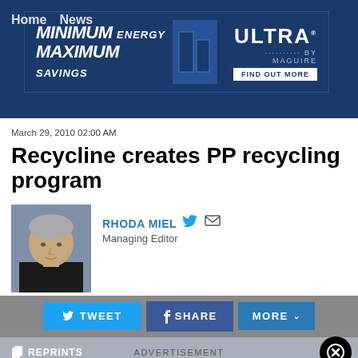[Figure (screenshot): Banner advertisement: MINIMUM ENERGY MAXIMUM SAVINGS | ULTRA BY MAGUIRE | FIND OUT MORE]
Home / News
March 29, 2010 02:00 AM
Recycline creates PP recycling program
[Figure (photo): Headshot of author Rhoda Miel, Managing Editor]
RHODA MIEL
Managing Editor
[Figure (infographic): Social sharing buttons: TWEET, SHARE, MORE]
REPRINTS
ADVERTISEMENT
Recycline ... action stream f... ining traction,... g the "Gimme...
[Figure (screenshot): Advertisement overlay: EXTRUDE WITH CONFIDENCE - US EXTRUDERS - CLICK TO LEARN MORE - www.us-extruders.com]